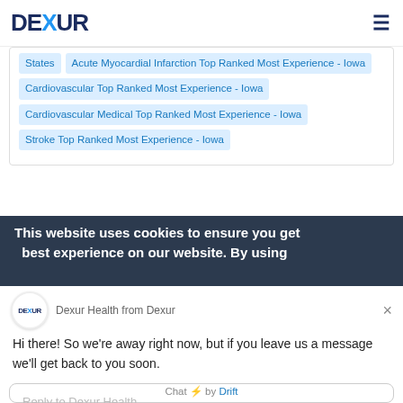DEXUR
States Acute Myocardial Infarction Top Ranked Most Experience - Iowa  Cardiovascular Top Ranked Most Experience - Iowa  Cardiovascular Medical Top Ranked Most Experience - Iowa  Stroke Top Ranked Most Experience - Iowa
This website uses cookies to ensure you get best experience on our website. By using
Dexur Health from Dexur
Hi there! So we're away right now, but if you leave us a message we'll get back to you soon.
Reply to Dexur Health
Chat ⚡ by Drift